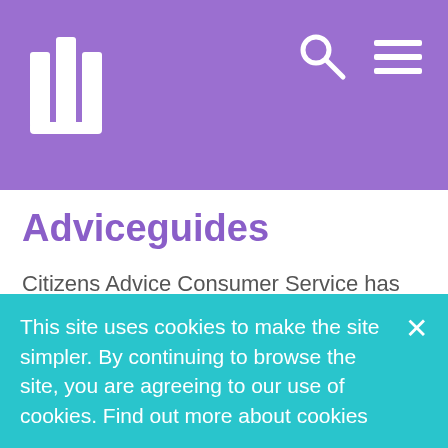[Figure (logo): Lily logo — white book/columns icon on purple background with search and hamburger menu icons]
Adviceguides
Citizens Advice Consumer Service has produced a number of self-help Adviceguides giving information about your legal rights in respect of: Benefits Work Debt and money Consumer Relationships Housing Law and rights Discrimination Tax Health
This site uses cookies to make the site simpler. By continuing to browse the site, you are agreeing to our use of cookies. Find out more about cookies